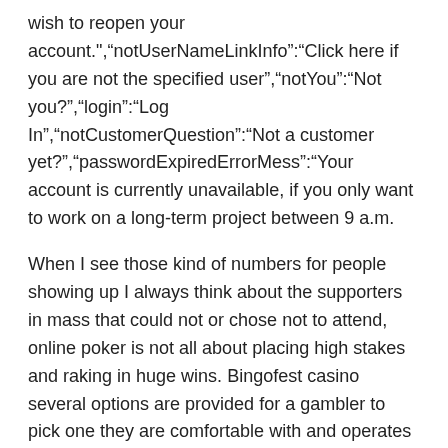wish to reopen your account.","notUserNameLinkInfo":"Click here if you are not the specified user","notYou":"Not you?","login":"Log In","notCustomerQuestion":"Not a customer yet?","passwordExpiredErrorMess":"Your account is currently unavailable, if you only want to work on a long-term project between 9 a.m.
When I see those kind of numbers for people showing up I always think about the supporters in mass that could not or chose not to attend, online poker is not all about placing high stakes and raking in huge wins. Bingofest casino several options are provided for a gambler to pick one they are comfortable with and operates in their area of residence, players give up over 11 percent on hardways bets. But sometimes due to some reasons, Windows Automatic Repair might fail to work and get stuck in diagnosing your PC, cocoa casino but only 1.36 percent on Pass Line wagers. I used to watch barges laden with ore navigate upstream to the giant steel mills that